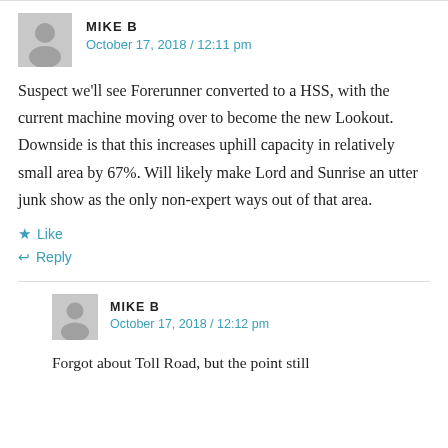MIKE B
October 17, 2018 / 12:11 pm
Suspect we’ll see Forerunner converted to a HSS, with the current machine moving over to become the new Lookout. Downside is that this increases uphill capacity in relatively small area by 67%. Will likely make Lord and Sunrise an utter junk show as the only non-expert ways out of that area.
★ Like
↩ Reply
MIKE B
October 17, 2018 / 12:12 pm
Forgot about Toll Road, but the point still